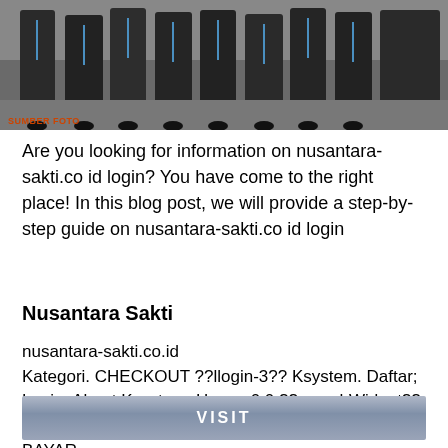[Figure (photo): Group of people in formal/graduation attire viewed from behind, wearing dark gowns and lanyards]
SUMBER FOTO
Are you looking for information on nusantara-sakti.co id login? You have come to the right place! In this blog post, we will provide a step-by-step guide on nusantara-sakti.co id login
Nusantara Sakti
nusantara-sakti.co.id
Kategori. CHECKOUT ??llogin-3?? Ksystem. Daftar; Login. About Ksystem. Home. 0 0 ??searchWidget?? Previous Next. Kategori Pilihan. SERVICE AHASS. BAYAR
[Figure (other): VISIT button with blue-grey gradient background]